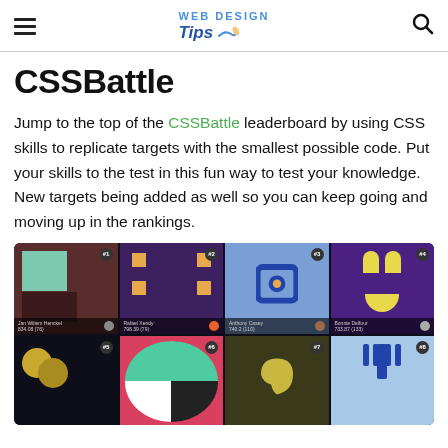WEB DESIGN Tips (logo with hamburger and search)
CSSBattle
Jump to the top of the CSSBattle leaderboard by using CSS skills to replicate targets with the smallest possible code. Put your skills to the test in this fun way to test your knowledge. New targets being added as well so you can keep going and moving up in the rankings.
[Figure (screenshot): Screenshot of CSSBattle website showing a dark-themed grid of 8 CSS challenge cards numbered #1 through #8, each showing a different CSS art target (colored shapes on colored backgrounds) with player names and scores below each card.]